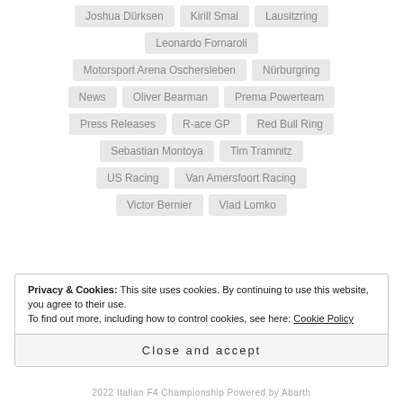Joshua Dürksen
Kirill Smal
Lausitzring
Leonardo Fornaroli
Motorsport Arena Oschersleben
Nürburgring
News
Oliver Bearman
Prema Powerteam
Press Releases
R-ace GP
Red Bull Ring
Sebastian Montoya
Tim Tramnitz
US Racing
Van Amersfoort Racing
Victor Bernier
Vlad Lomko
Privacy & Cookies: This site uses cookies. By continuing to use this website, you agree to their use. To find out more, including how to control cookies, see here: Cookie Policy
Close and accept
2022 Italian F4 Championship Powered by Abarth